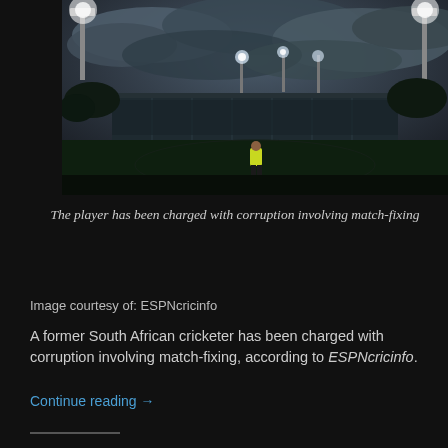[Figure (photo): A cricket stadium at dusk/night with floodlights on, dark cloudy sky, a figure in a yellow/green jacket visible on the outfield grass. Stadium stands visible in background.]
The player has been charged with corruption involving match-fixing
Image courtesy of: ESPNcricinfo
A former South African cricketer has been charged with corruption involving match-fixing, according to ESPNcricinfo.
Continue reading →